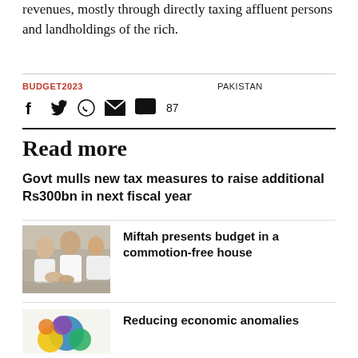revenues, mostly through directly taxing affluent persons and landholdings of the rich.
BUDGET2023    PAKISTAN
[Figure (other): Social media share icons: Facebook, Twitter, WhatsApp, Email, Comment (87)]
Read more
Govt mulls new tax measures to raise additional Rs300bn in next fiscal year
[Figure (photo): Photo of two men in white shirts shaking hands]
Miftah presents budget in a commotion-free house
[Figure (illustration): Decorative graphic with colorful circles]
Reducing economic anomalies